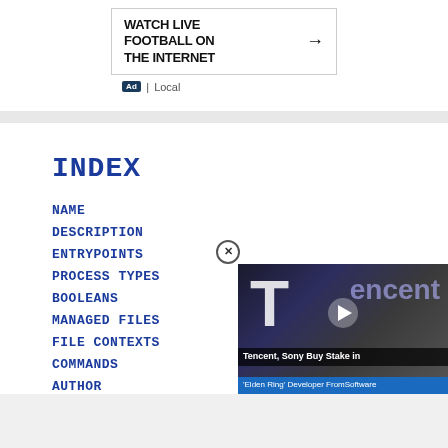[Figure (other): Advertisement banner with text 'WATCH LIVE FOOTBALL ON THE INTERNET' and a right arrow]
Ad | Local
INDEX
NAME
DESCRIPTION
ENTRYPOINTS
PROCESS TYPES
BOOLEANS
MANAGED FILES
FILE CONTEXTS
COMMANDS
AUTHOR
[Figure (photo): Video overlay showing Tencent logo with caption 'Tencent, Sony Buy Stake in Elden Ring Developer FromSoftware']